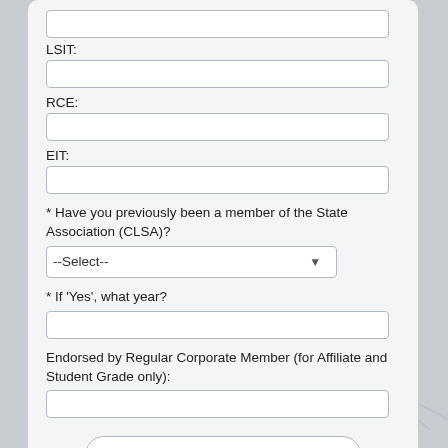LSIT:
RCE:
EIT:
* Have you previously been a member of the State Association (CLSA)?
* If 'Yes', what year?
Endorsed by Regular Corporate Member (for Affiliate and Student Grade only):
CONTINUE